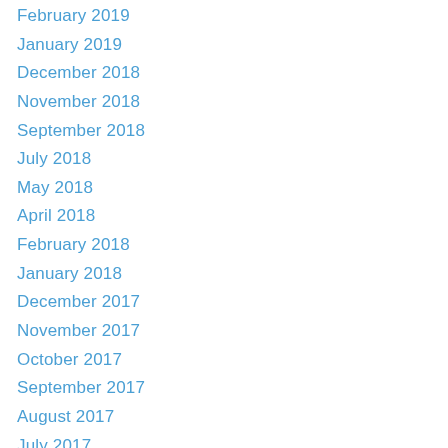February 2019
January 2019
December 2018
November 2018
September 2018
July 2018
May 2018
April 2018
February 2018
January 2018
December 2017
November 2017
October 2017
September 2017
August 2017
July 2017
June 2017
May 2017
April 2017
March 2017